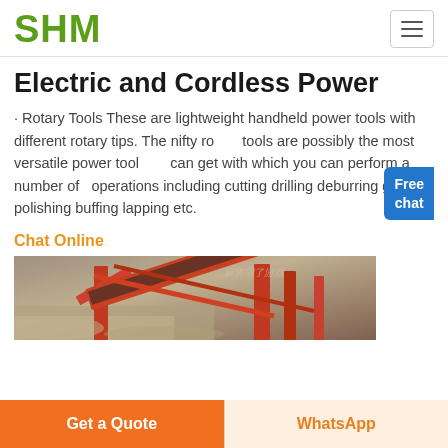SHM
Electric and Cordless Power
· Rotary Tools These are lightweight handheld power tools with different rotary tips. The nifty rotary tools are possibly the most versatile power tool you can get with which you can perform a number of operations including cutting drilling deburring grinding polishing buffing lapping etc.
Chat Online
[Figure (photo): Industrial conveyor/screening machinery with red metal structure and sandy aggregate material]
Get a Quote
WhatsApp